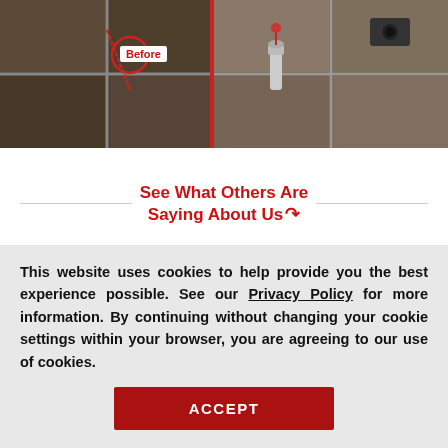[Figure (photo): Before/after photo strip showing marble tile floor repair with grout and tools. 'Before' label visible on left portion.]
See What Others Are Saying About Us
[Figure (other): Five gold/yellow star rating icons]
Edy M - White Plains, NY
July 07, 2022
This website uses cookies to help provide you the best experience possible. See our Privacy Policy for more information. By continuing without changing your cookie settings within your browser, you are agreeing to our use of cookies.
ACCEPT